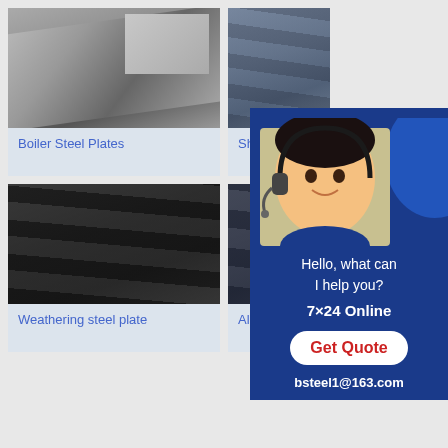[Figure (photo): Boiler steel plates - stacked shiny metallic steel plates]
Boiler Steel Plates
[Figure (photo): Shipbuilding steel plates - stacked dark steel plates]
Shipbu
[Figure (photo): Weathering steel plate - stacked dark/black steel plates]
Weathering steel plate
[Figure (photo): Alloy steel plates - stacked steel plates]
Alloy s
[Figure (infographic): Chat widget with customer service avatar, Hello what can I help you? 7x24 Online, Get Quote button, bsteel1@163.com email]